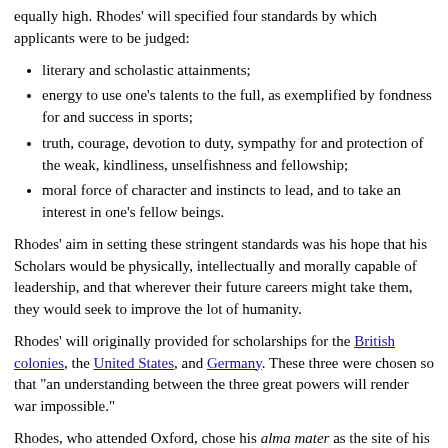equally high. Rhodes' will specified four standards by which applicants were to be judged:
literary and scholastic attainments;
energy to use one's talents to the full, as exemplified by fondness for and success in sports;
truth, courage, devotion to duty, sympathy for and protection of the weak, kindliness, unselfishness and fellowship;
moral force of character and instincts to lead, and to take an interest in one's fellow beings.
Rhodes' aim in setting these stringent standards was his hope that his Scholars would be physically, intellectually and morally capable of leadership, and that wherever their future careers might take them, they would seek to improve the lot of humanity.
Rhodes' will originally provided for scholarships for the British colonies, the United States, and Germany. These three were chosen so that "an understanding between the three great powers will render war impossible."
Rhodes, who attended Oxford, chose his alma mater as the site of his great experiment because he believed its residential colleges provided the ideal environment for intellectual contemplation and personal development.